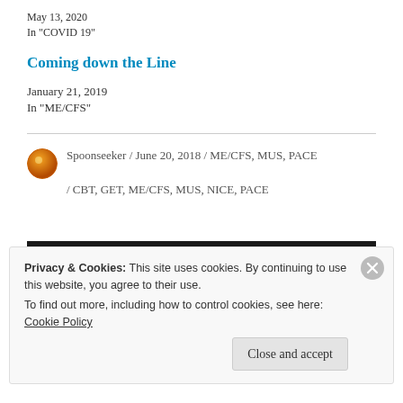May 13, 2020
In "COVID 19"
Coming down the Line
January 21, 2019
In "ME/CFS"
Spoonseeker / June 20, 2018 / ME/CFS, MUS, PACE / CBT, GET, ME/CFS, MUS, NICE, PACE
Privacy & Cookies: This site uses cookies. By continuing to use this website, you agree to their use.
To find out more, including how to control cookies, see here: Cookie Policy
Close and accept